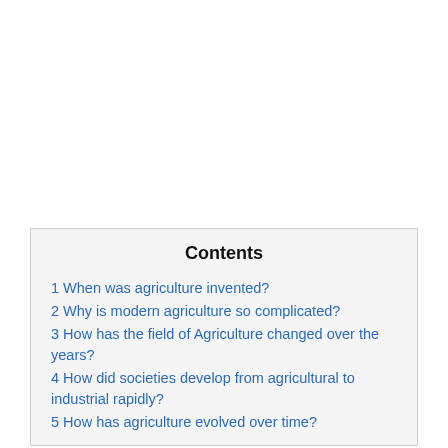Contents
1 When was agriculture invented?
2 Why is modern agriculture so complicated?
3 How has the field of Agriculture changed over the years?
4 How did societies develop from agricultural to industrial rapidly?
5 How has agriculture evolved over time?